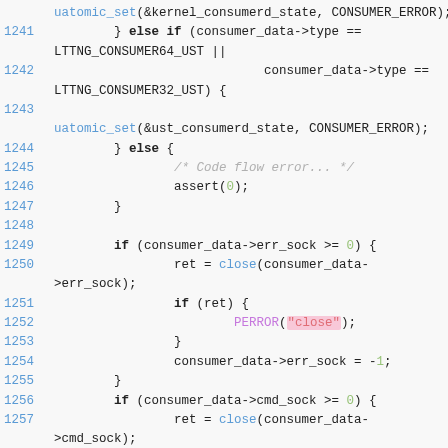Source code listing lines 1241-1259 showing C code for consumer data handling
1241: } else if (consumer_data->type == LTTNG_CONSUMER64_UST ||
1242:                             consumer_data->type == LTTNG_CONSUMER32_UST) {
1243: uatomic_set(&ust_consumerd_state, CONSUMER_ERROR);
1244:         } else {
1245:                 /* Code flow error... */
1246:                 assert(0);
1247:         }
1248:
1249:         if (consumer_data->err_sock >= 0) {
1250:                 ret = close(consumer_data->err_sock);
1251:                 if (ret) {
1252:                         PERROR("close");
1253:                 }
1254:                 consumer_data->err_sock = -1;
1255:         }
1256:         if (consumer_data->cmd_sock >= 0) {
1257:                 ret = close(consumer_data->cmd_sock);
1258:                 if (ret) {
1259:                         PERROR("close");